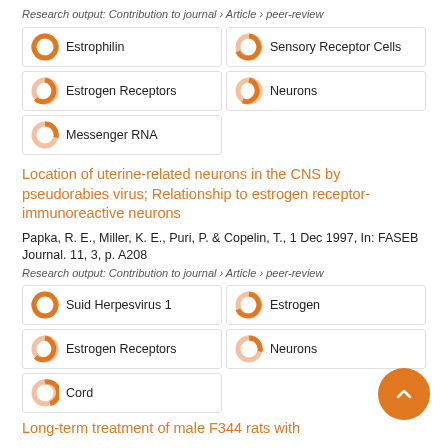Research output: Contribution to journal › Article › peer-review
[Figure (infographic): Keyword badges with donut-style percentage icons: Estrophilin (100%), Sensory Receptor Cells (80%), Estrogen Receptors (65%), Neurons (55%), Messenger RNA (47%)]
Location of uterine-related neurons in the CNS by pseudorabies virus; Relationship to estrogen receptor-immunoreactive neurons
Papka, R. E., Miller, K. E., Puri, P. & Copelin, T., 1 Dec 1997, In: FASEB Journal. 11, 3, p. A208
Research output: Contribution to journal › Article › peer-review
[Figure (infographic): Keyword badges with donut-style percentage icons: Suid Herpesvirus 1 (100%), Estrogen (80%), Estrogen Receptors (65%), Neurons (47%), Cord (22%)]
Long-term treatment of male F344 rats with